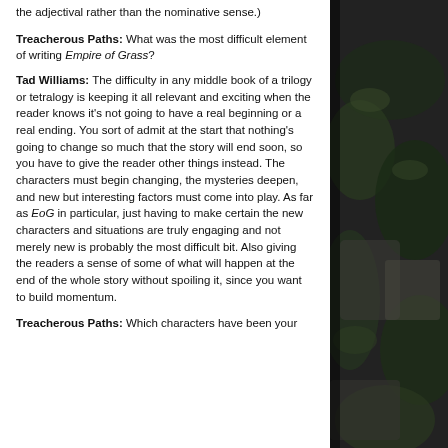the adjectival rather than the nominative sense.)
Treacherous Paths: What was the most difficult element of writing Empire of Grass?
Tad Williams: The difficulty in any middle book of a trilogy or tetralogy is keeping it all relevant and exciting when the reader knows it's not going to have a real beginning or a real ending. You sort of admit at the start that nothing's going to change so much that the story will end soon, so you have to give the reader other things instead. The characters must begin changing, the mysteries deepen, and new but interesting factors must come into play. As far as EoG in particular, just having to make certain the new characters and situations are truly engaging and not merely new is probably the most difficult bit. Also giving the readers a sense of some of what will happen at the end of the whole story without spoiling it, since you want to build momentum.
Treacherous Paths: Which characters have been your